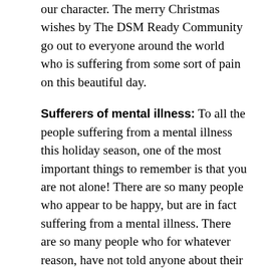our character. The merry Christmas wishes by The DSM Ready Community go out to everyone around the world who is suffering from some sort of pain on this beautiful day.
Sufferers of mental illness: To all the people suffering from a mental illness this holiday season, one of the most important things to remember is that you are not alone! There are so many people who appear to be happy, but are in fact suffering from a mental illness. There are so many people who for whatever reason, have not told anyone about their mental illness. A mental illness does not always manifest itself through evident and obvious behavior; many times, it remains an invisible illness.
Sufferers of addiction: As we can all imagine, the mental illness known as addiction recognizes no holiday. Occasionally, a "dry holiday" may take place, but in the